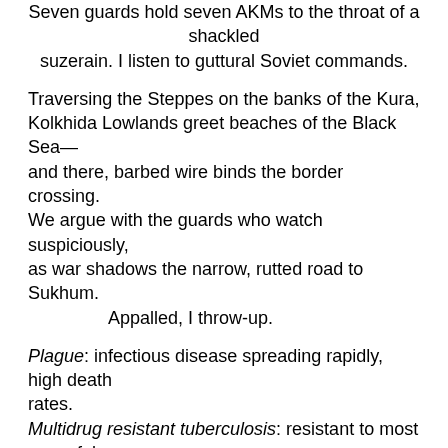Seven guards hold seven AKMs to the throat of a shackled suzerain. I listen to guttural Soviet commands.
Traversing the Steppes on the banks of the Kura,
Kolkhida Lowlands greet beaches of the Black Sea—
and there, barbed wire binds the border crossing.
We argue with the guards who watch suspiciously,
as war shadows the narrow, rutted road to Sukhum.
        Appalled, I throw-up.
Plague: infectious disease spreading rapidly, high death rates.
Multidrug resistant tuberculosis: resistant to most powerful drugs,
affects lungs, brain, kidneys, spine, floats in air several hours,
spreads through coughing, sneezing, speaking, singing.
Épidémiologiste: One who studies epidemic 'dis-ease.'
I'm a spook, a closer, I study dog-eared data.
The fieldco shows me 'the office,' a heater-less closet.
My mind's Absinthe in a labyrinth as I listen
to one-hundred and forty-four-proof Abkhazian double-talk.
        What's bullshit, what's not?
Long days working missions by frozen cisterns,